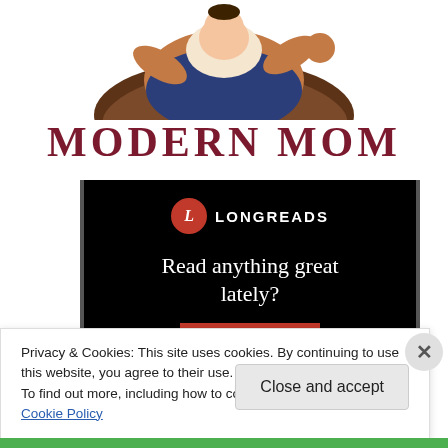[Figure (illustration): Cartoon illustration of a mother sitting cross-legged holding a baby, partially visible at top of page]
MODERN MOM
[Figure (screenshot): Longreads advertisement on black background with logo, tagline 'Read anything great lately?' and a red 'Start reading' button]
Privacy & Cookies: This site uses cookies. By continuing to use this website, you agree to their use.
To find out more, including how to control cookies, see here: Cookie Policy
Close and accept